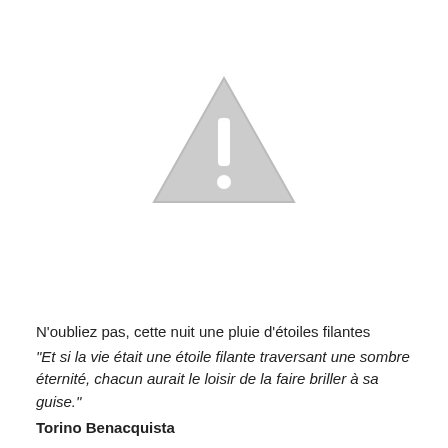[Figure (illustration): A grey warning triangle icon with an exclamation mark inside, centered on the page.]
N'oubliez pas, cette nuit une pluie d'étoiles filantes
"Et si la vie était une étoile filante traversant une sombre éternité, chacun aurait le loisir de la faire briller à sa guise."
Torino Benacquista